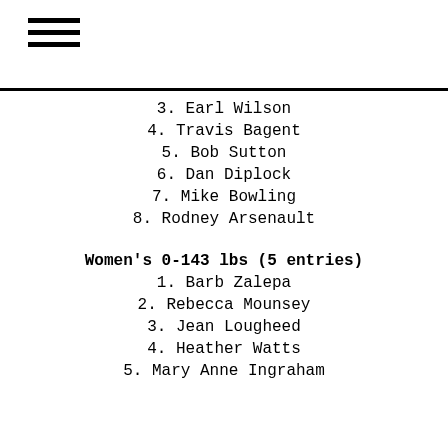≡
3. Earl Wilson
4. Travis Bagent
5. Bob Sutton
6. Dan Diplock
7. Mike Bowling
8. Rodney Arsenault
Women's 0-143 lbs (5 entries)
1. Barb Zalepa
2. Rebecca Mounsey
3. Jean Lougheed
4. Heather Watts
5. Mary Anne Ingraham